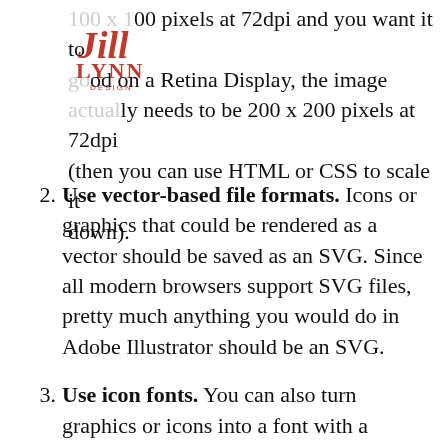[Figure (logo): Jill Lynn Design logo in red script font with 'DESIGN' text below]
100 x 100 pixels at 72dpi and you want it to good on a Retina Display, the image actually needs to be 200 x 200 pixels at 72dpi (then you can use HTML or CSS to scale it down).
2. Use vector-based file formats. Icons or graphics that could be rendered as a vector should be saved as an SVG. Since all modern browsers support SVG files, pretty much anything you would do in Adobe Illustrator should be an SVG.
3. Use icon fonts. You can also turn graphics or icons into a font with a service like IcoMoon. This way, they will display super crisp…